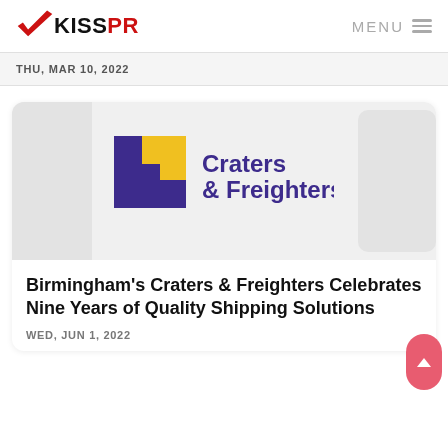KISSPR  MENU
THU, MAR 10, 2022
[Figure (logo): Craters & Freighters company logo with purple and yellow geometric shapes and text 'Craters & Freighters.']
Birmingham's Craters & Freighters Celebrates Nine Years of Quality Shipping Solutions
WED, JUN 1, 2022